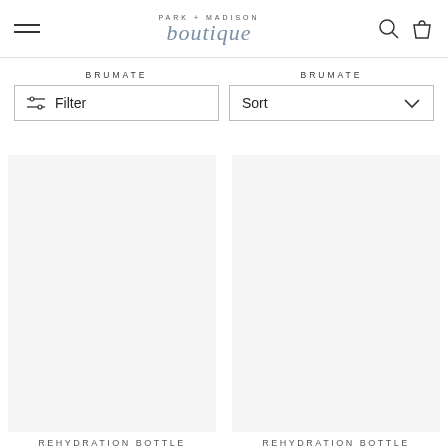PARK + MADISON boutique
BRUMATE Filter
BRUMATE Sort
REHYDRATION BOTTLE
REHYDRATION BOTTLE